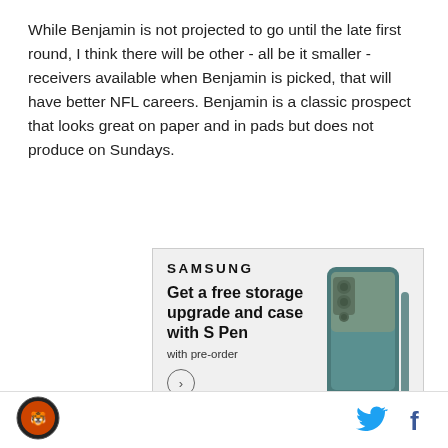While Benjamin is not projected to go until the late first round, I think there will be other - all be it smaller - receivers available when Benjamin is picked, that will have better NFL careers. Benjamin is a classic prospect that looks great on paper and in pads but does not produce on Sundays.
[Figure (other): Samsung advertisement: 'Get a free storage upgrade and case with S Pen with pre-order' showing a Samsung Galaxy Z Fold phone]
Site logo icon | Twitter bird icon | Facebook f icon